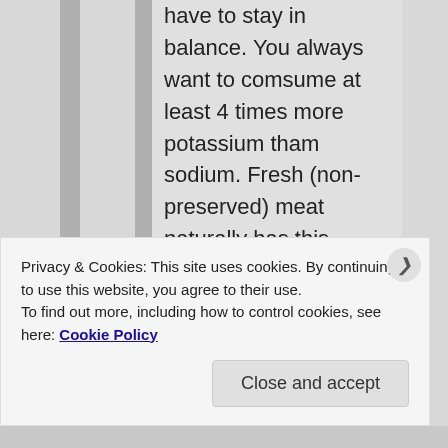have to stay in balance. You always want to comsume at least 4 times more potassium tham sodium. Fresh (non-preserved) meat naturally has this balance. Most hunter-gatherers ate a ratio of 12:1. Bacon and cheese have more sodium than potassium and adding salt to your meat also upsets this balance. High blood pressure is not a result of
Privacy & Cookies: This site uses cookies. By continuing to use this website, you agree to their use.
To find out more, including how to control cookies, see here: Cookie Policy